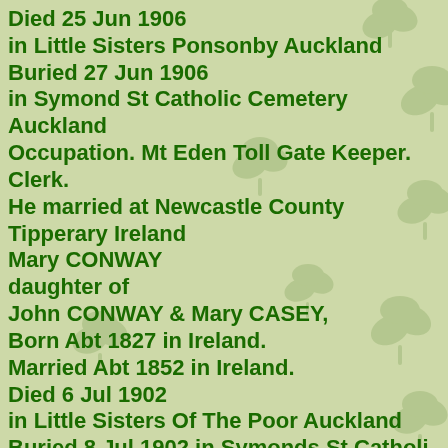Died 25 Jun 1906 in Little Sisters Ponsonby Auckland Buried 27 Jun 1906 in Symond St Catholic Cemetery Auckland Occupation. Mt Eden Toll Gate Keeper. Clerk. He married at Newcastle County Tipperary Ireland Mary CONWAY daughter of John CONWAY & Mary CASEY, Born Abt 1827 in Ireland. Married Abt 1852 in Ireland. Died 6 Jul 1902 in Little Sisters Of The Poor Auckland Buried 8 Jul 1902 in Symonds St Catholi